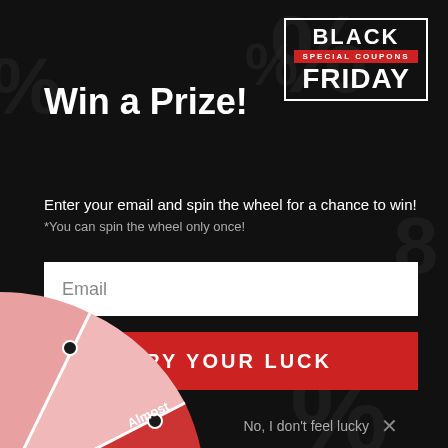[Figure (logo): Black Friday Special Coupons logo with white border box, red banner reading SPECIAL COUPONS, BLACK FRIDAY text in white bold]
Win a Prize!
Enter your email and spin the wheel for a chance to win!
*You can spin the wheel only once!
[Figure (other): White email input field with placeholder text 'Email']
[Figure (other): Red button with white text TRY YOUR LUCK]
No, I don't feel lucky
[Figure (other): Partial prize wheel visible at bottom left showing segments including 30% OFF! and Almost, in pink/red/dark red colors with white dividers and black center pins]